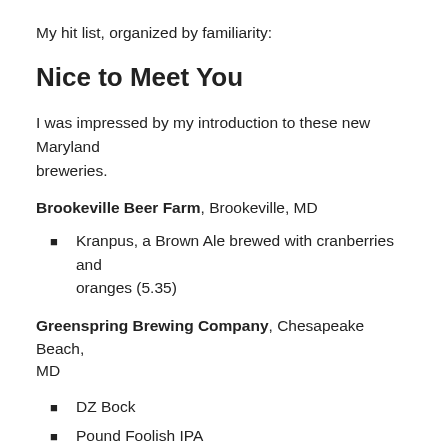My hit list, organized by familiarity:
Nice to Meet You
I was impressed by my introduction to these new Maryland breweries.
Brookeville Beer Farm, Brookeville, MD
Kranpus, a Brown Ale brewed with cranberries and oranges (5.35)
Greenspring Brewing Company, Chesapeake Beach, MD
DZ Bock
Pound Foolish IPA